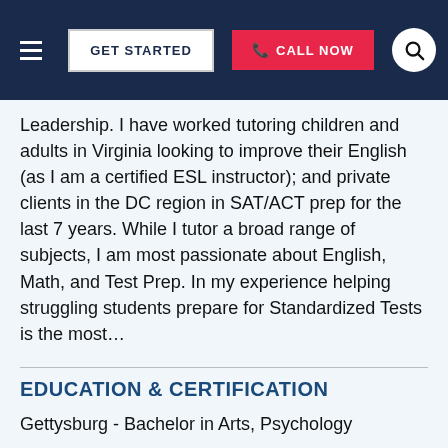GET STARTED | CALL NOW
Leadership. I have worked tutoring children and adults in Virginia looking to improve their English (as I am a certified ESL instructor); and private clients in the DC region in SAT/ACT prep for the last 7 years. While I tutor a broad range of subjects, I am most passionate about English, Math, and Test Prep. In my experience helping struggling students prepare for Standardized Tests is the most...
EDUCATION & CERTIFICATION
Gettysburg - Bachelor in Arts, Psychology
Trinity College - Master of Arts Teaching, Elementary School Teaching